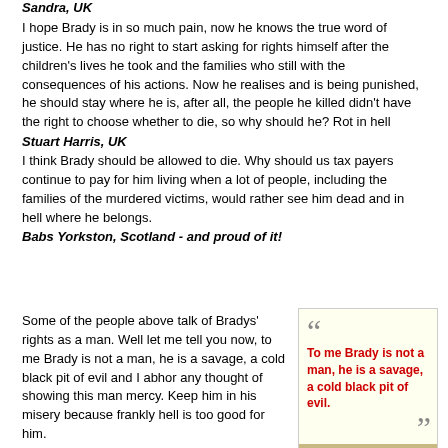Sandra, UK
I hope Brady is in so much pain, now he knows the true word of justice. He has no right to start asking for rights himself after the children's lives he took and the families who still with the consequences of his actions. Now he realises and is being punished, he should stay where he is, after all, the people he killed didn't have the right to choose whether to die, so why should he? Rot in hell
Stuart Harris, UK
I think Brady should be allowed to die. Why should us tax payers continue to pay for him living when a lot of people, including the families of the murdered victims, would rather see him dead and in hell where he belongs.
Babs Yorkston, Scotland - and proud of it!
Some of the people above talk of Bradys' rights as a man. Well let me tell you now, to me Brady is not a man, he is a savage, a cold black pit of evil and I abhor any thought of showing this man mercy. Keep him in his misery because frankly hell is too good for him.
To me Brady is not a man, he is a savage, a cold black pit of evil.
Carolina, UK
Carolina, UK